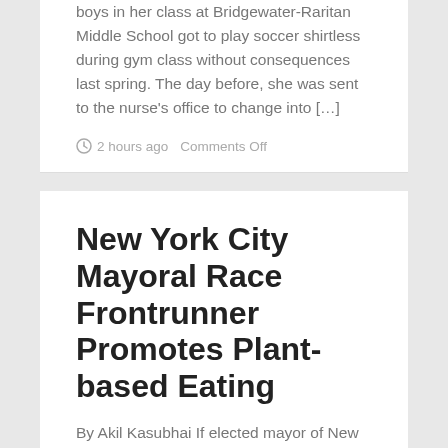boys in her class at Bridgewater-Raritan Middle School got to play soccer shirtless during gym class without consequences last spring. The day before, she was sent to the nurse's office to change into […]
2 hours ago   Comments Off
New York City Mayoral Race Frontrunner Promotes Plant-based Eating
By Akil Kasubhai If elected mayor of New York City, Brooklyn Borough President Eric Adams will become the